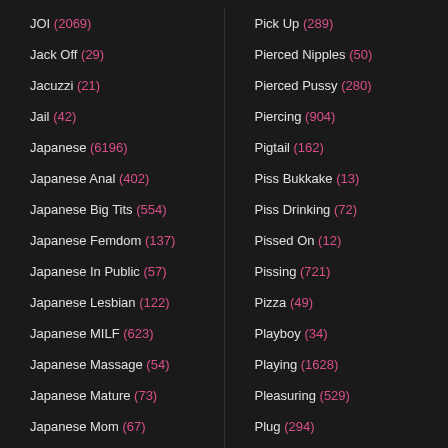JOI (2069)
Jack Off (29)
Jacuzzi (21)
Jail (42)
Japanese (6196)
Japanese Anal (402)
Japanese Big Tits (554)
Japanese Femdom (137)
Japanese In Public (57)
Japanese Lesbian (122)
Japanese MILF (623)
Japanese Massage (54)
Japanese Mature (73)
Japanese Mom (67)
Japanese Teacher (30)
Japanese Teen (1325)
Pick Up (289)
Pierced Nipples (50)
Pierced Pussy (280)
Piercing (904)
Pigtail (162)
Piss Bukkake (13)
Piss Drinking (72)
Pissed On (12)
Pissing (721)
Pizza (49)
Playboy (34)
Playing (1628)
Pleasuring (529)
Plug (294)
Plumber (36)
Plump (727)